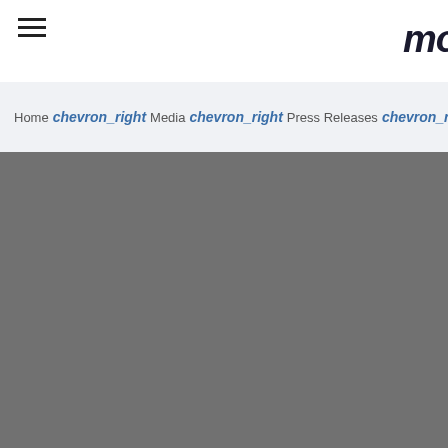mo
Home  chevron_right  Media  chevron_right  Press Releases  chevron_right  Vedanta zinc int
[Figure (photo): Dark grey/charcoal background area occupying the lower portion of the page]